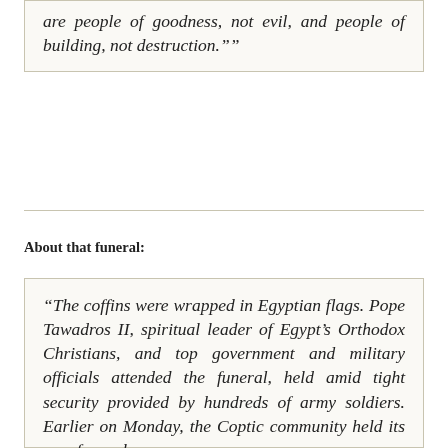are people of goodness, not evil, and people of building, not destruction.""
About that funeral:
"The coffins were wrapped in Egyptian flags. Pope Tawadros II, spiritual leader of Egypt's Orthodox Christians, and top government and military officials attended the funeral, held amid tight security provided by hundreds of army soldiers. Earlier on Monday, the Coptic community held its own funeral